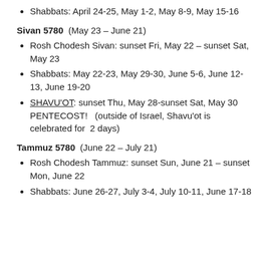Shabbats: April 24-25, May 1-2, May 8-9, May 15-16
Sivan 5780  (May 23 – June 21)
Rosh Chodesh Sivan: sunset Fri, May 22 – sunset Sat, May 23
Shabbats: May 22-23, May 29-30, June 5-6, June 12-13, June 19-20
SHAVU'OT: sunset Thu, May 28-sunset Sat, May 30 PENTECOST!  (outside of Israel, Shavu'ot is celebrated for  2 days)
Tammuz 5780  (June 22 – July 21)
Rosh Chodesh Tammuz: sunset Sun, June 21 – sunset Mon, June 22
Shabbats: June 26-27, July 3-4, July 10-11, June 17-18